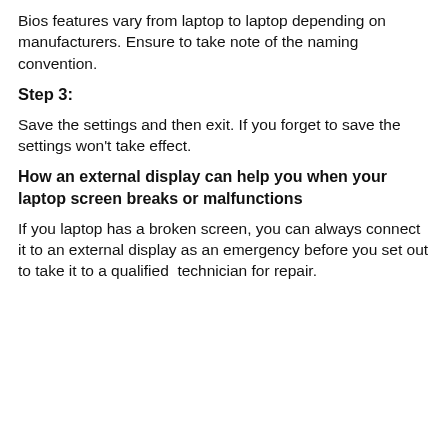Bios features vary from laptop to laptop depending on manufacturers. Ensure to take note of the naming convention.
Step 3:
Save the settings and then exit. If you forget to save the settings won't take effect.
How an external display can help you when your laptop screen breaks or malfunctions
If you laptop has a broken screen, you can always connect it to an external display as an emergency before you set out to take it to a qualified  technician for repair.